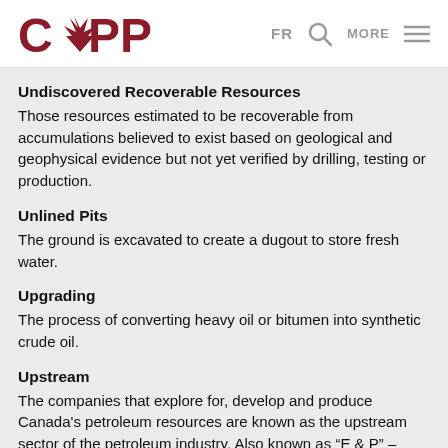[Figure (logo): CAPP logo with red maple leaf incorporated into the letter A]
Undiscovered Recoverable Resources
Those resources estimated to be recoverable from accumulations believed to exist based on geological and geophysical evidence but not yet verified by drilling, testing or production.
Unlined Pits
The ground is excavated to create a dugout to store fresh water.
Upgrading
The process of converting heavy oil or bitumen into synthetic crude oil.
Upstream
The companies that explore for, develop and produce Canada's petroleum resources are known as the upstream sector of the petroleum industry. Also known as “E & P” –exploration and production.